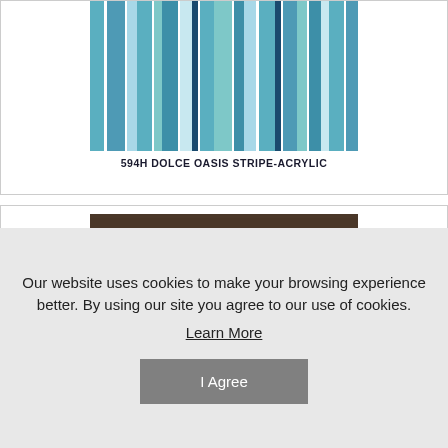[Figure (photo): Blue and teal striped fabric swatch - Dolce Oasis Stripe Acrylic]
594H DOLCE OASIS STRIPE-ACRYLIC
[Figure (photo): Dark brown solid fabric swatch]
Our website uses cookies to make your browsing experience better. By using our site you agree to our use of cookies.
Learn More
I Agree